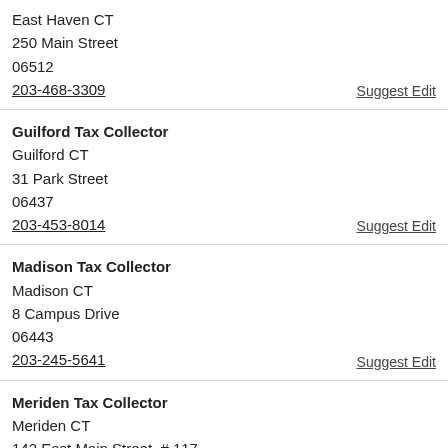East Haven CT
250 Main Street
06512
203-468-3309
Suggest Edit
Guilford Tax Collector
Guilford CT
31 Park Street
06437
203-453-8014
Suggest Edit
Madison Tax Collector
Madison CT
8 Campus Drive
06443
203-245-5641
Suggest Edit
Meriden Tax Collector
Meriden CT
142 East Main Street, # 117